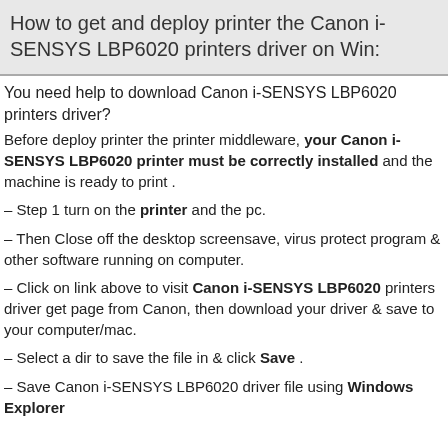How to get and deploy printer the Canon i-SENSYS LBP6020 printers driver on Win:
You need help to download Canon i-SENSYS LBP6020 printers driver?
Before deploy printer the printer middleware, your Canon i-SENSYS LBP6020 printer must be correctly installed and the machine is ready to print .
– Step 1 turn on the printer and the pc.
– Then Close off the desktop screensave, virus protect program & other software running on computer.
– Click on link above to visit Canon i-SENSYS LBP6020 printers driver get page from Canon, then download your driver & save to your computer/mac.
– Select a dir to save the file in & click Save .
– Save Canon i-SENSYS LBP6020 driver file using Windows Explorer